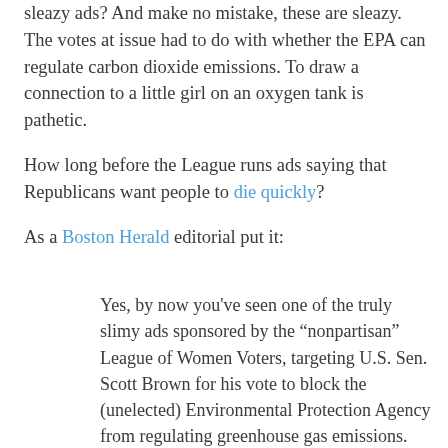What is up with the League of Women Voters running such sleazy ads? And make no mistake, these are sleazy. The votes at issue had to do with whether the EPA can regulate carbon dioxide emissions. To draw a connection to a little girl on an oxygen tank is pathetic.
How long before the League runs ads saying that Republicans want people to die quickly?
As a Boston Herald editorial put it:
Yes, by now you've seen one of the truly slimy ads sponsored by the “nonpartisan” League of Women Voters, targeting U.S. Sen. Scott Brown for his vote to block the (unelected) Environmental Protection Agency from regulating greenhouse gas emissions. We sure hope those little girls are feeling better knowing that Brown’s losing vote didn’t change their fate one iota.
Now the Massachusetts Republican Party has filed a complaint with the Federal Election Commission, arguing that the League’s failure to